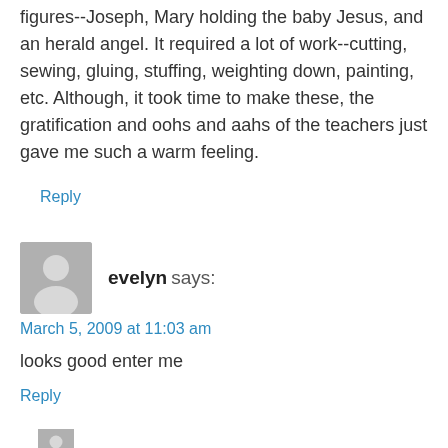figures--Joseph, Mary holding the baby Jesus, and an herald angel. It required a lot of work--cutting, sewing, gluing, stuffing, weighting down, painting, etc. Although, it took time to make these, the gratification and oohs and aahs of the teachers just gave me such a warm feeling.
Reply
[Figure (illustration): Grey placeholder avatar icon showing a person silhouette]
evelyn says:
March 5, 2009 at 11:03 am
looks good enter me
Reply
[Figure (illustration): Grey placeholder avatar icon showing a person silhouette (partially visible at bottom)]